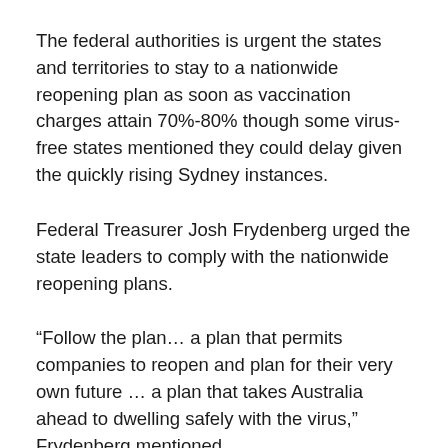The federal authorities is urgent the states and territories to stay to a nationwide reopening plan as soon as vaccination charges attain 70%-80% though some virus-free states mentioned they could delay given the quickly rising Sydney instances.
Federal Treasurer Josh Frydenberg urged the state leaders to comply with the nationwide reopening plans.
“Follow the plan… a plan that permits companies to reopen and plan for their very own future … a plan that takes Australia ahead to dwelling safely with the virus,” Frydenberg mentioned.